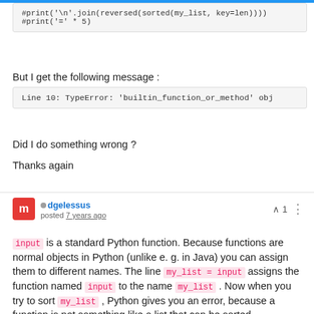[Figure (screenshot): Code block showing Python commented-out print statements: #print('\n'.join(reversed(sorted(my_list, key=len)))) and #print('=' * 5)]
But I get the following message :
[Figure (screenshot): Error message block: Line 10: TypeError: 'builtin_function_or_method' obj]
Did I do something wrong ?
Thanks again
dgelessus posted 7 years ago ^1
input is a standard Python function. Because functions are normal objects in Python (unlike e. g. in Java) you can assign them to different names. The line my_list = input assigns the function named input to the name my_list . Now when you try to sort my_list , Python gives you an error, because a function is not something like a list that can be sorted.